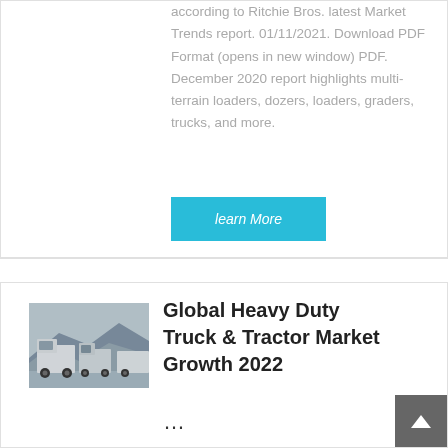according to Ritchie Bros. latest Market Trends report. 01/11/2021. Download PDF Format (opens in new window) PDF. December 2020 report highlights multi-terrain loaders, dozers, loaders, graders, trucks, and more.
learn More
[Figure (photo): Photo of heavy duty trucks/tractors viewed from behind, in an outdoor setting with rocky terrain]
Global Heavy Duty Truck & Tractor Market Growth 2022 ...